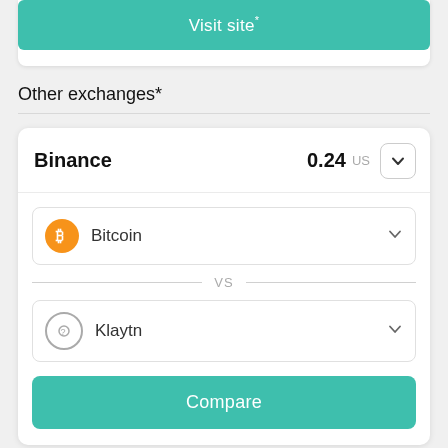[Figure (other): Green 'Visit site*' button at top of a white card]
Other exchanges*
Binance  0.24 US
Bitcoin (dropdown selector)
VS
Klaytn (dropdown selector)
Compare (button)
Low (24h):  0.24 USDT